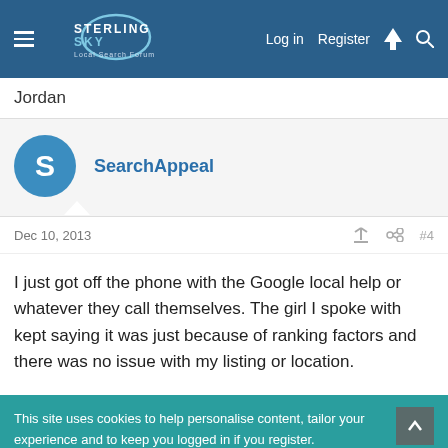Sterling Sky Local Search Forum — Log in | Register
Jordan
SearchAppeal
Dec 10, 2013  #4
I just got off the phone with the Google local help or whatever they call themselves. The girl I spoke with kept saying it was just because of ranking factors and there was no issue with my listing or location.
This site uses cookies to help personalise content, tailor your experience and to keep you logged in if you register.
By continuing to use this site, you are consenting to our use of cookies.